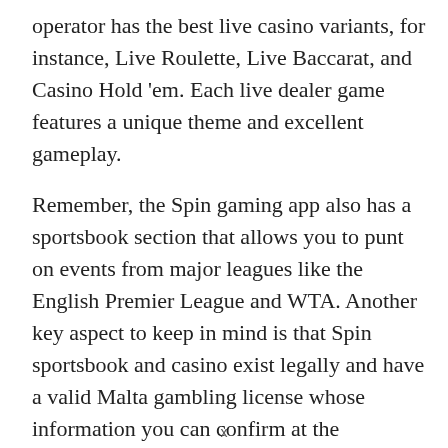operator has the best live casino variants, for instance, Live Roulette, Live Baccarat, and Casino Hold 'em. Each live dealer game features a unique theme and excellent gameplay.
Remember, the Spin gaming app also has a sportsbook section that allows you to punt on events from major leagues like the English Premier League and WTA. Another key aspect to keep in mind is that Spin sportsbook and casino exist legally and have a valid Malta gambling license whose information you can confirm at the platform's footer. Moreover, the app is safe thanks to the available security measures such as SSL data encryption technology, HTTPS protocol, and, most importantly, a firewall system. In terms of payments, Casino Spin houses fast and reliable payment options, including VISA, Neteller, and MasterCard. Lastly, the casino has a live chat and Spin Casino email:
x